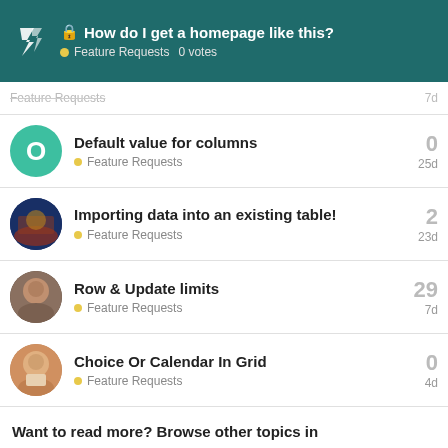🔒 How do I get a homepage like this? • Feature Requests 0 votes
Feature Requests — 7d (faded row)
Default value for columns — Feature Requests — 0 votes — 25d
Importing data into an existing table! — Feature Requests — 2 votes — 23d
Row & Update limits — Feature Requests — 29 votes — 7d
Choice Or Calendar In Grid — Feature Requests — 0 votes — 4d
Want to read more? Browse other topics in • Feature Requests or view latest topics.